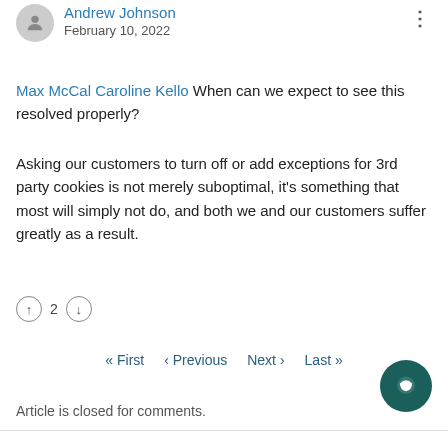Andrew Johnson
February 10, 2022
Max McCal Caroline Kello When can we expect to see this resolved properly?
Asking our customers to turn off or add exceptions for 3rd party cookies is not merely suboptimal, it's something that most will simply not do, and both we and our customers suffer greatly as a result.
↑ 2 ↓
« First ‹ Previous Next › Last »
Article is closed for comments.